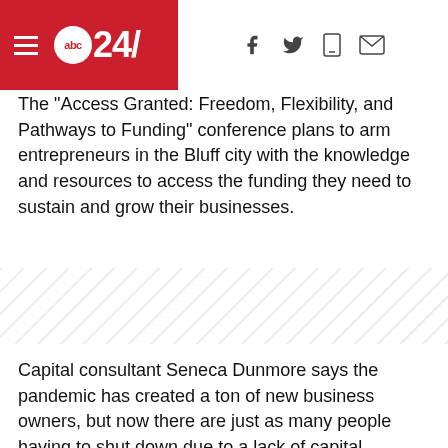abc 24/ [navigation icons: facebook, twitter, mobile, email]
The “Access Granted: Freedom, Flexibility, and Pathways to Funding” conference plans to arm entrepreneurs in the Bluff city with the knowledge and resources to access the funding they need to sustain and grow their businesses.
[Figure (illustration): Diagonal hatched/striped decorative background pattern in light gray]
Capital consultant Seneca Dunmore says the pandemic has created a ton of new business owners, but now there are just as many people having to shut down due to a lack of capital. Dunmore says she found many people didn’t even know how to access alternative options for funding and growth which is why she started this conference.
“There has been tons of money funneled into the economy the last couple of years to offset the effects of Covid-19. The only problem with that is a lot of that money isn’t being